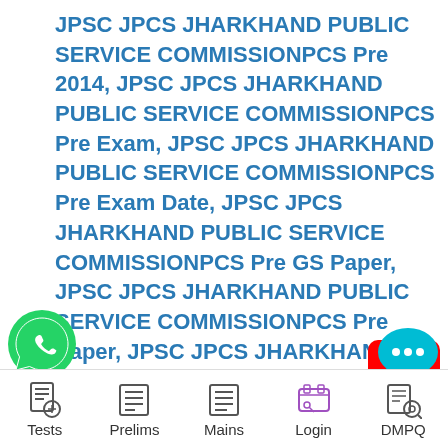JPSC JPCS JHARKHAND PUBLIC SERVICE COMMISSIONPCS Pre 2014, JPSC JPCS JHARKHAND PUBLIC SERVICE COMMISSIONPCS Pre Exam, JPSC JPCS JHARKHAND PUBLIC SERVICE COMMISSIONPCS Pre Exam Date, JPSC JPCS JHARKHAND PUBLIC SERVICE COMMISSIONPCS Pre GS Paper, JPSC JPCS JHARKHAND PUBLIC SERVICE COMMISSIONPCS Pre Paper, JPSC JPCS JHARKHAND PUBLIC SERVICE COMMISSIONPCS Pre Paper JPSC notes, JPSC JPCS JHARKHAND PUBLIC SERVICE
[Figure (logo): YouTube play button red icon]
[Figure (logo): WhatsApp green phone bubble icon]
[Figure (logo): Chat bubble icon with three dots]
Tests | Prelims | Mains | Login | DMPQ